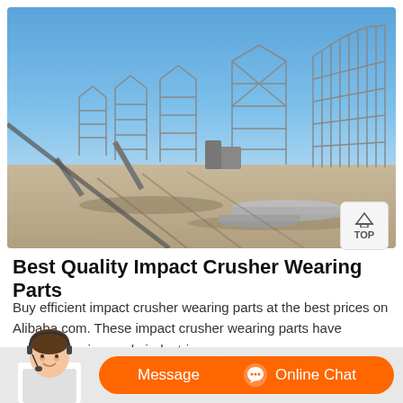[Figure (photo): Industrial construction site with steel frame structures under a clear blue sky. Large metal framework buildings under construction, with conveyor belts, pipes, and machinery visible on sandy ground.]
Best Quality Impact Crusher Wearing Parts
Buy efficient impact crusher wearing parts at the best prices on Alibaba.com. These impact crusher wearing parts have applications in multiple industries.